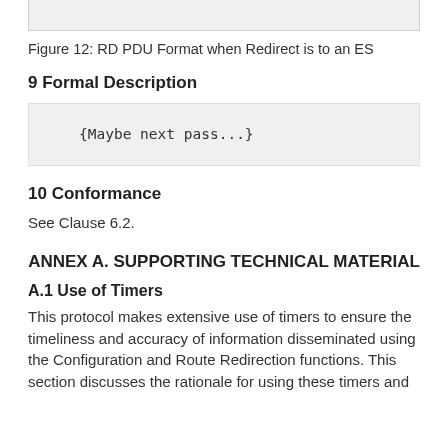[Figure (other): Top portion of Figure 12: RD PDU Format when Redirect is to an ES (cropped, showing bottom of figure box)]
Figure 12: RD PDU Format when Redirect is to an ES
9 Formal Description
{Maybe next pass...}
10 Conformance
See Clause 6.2.
ANNEX A. SUPPORTING TECHNICAL MATERIAL
A.1 Use of Timers
This protocol makes extensive use of timers to ensure the timeliness and accuracy of information disseminated using the Configuration and Route Redirection functions. This section discusses the rationale for using these timers and